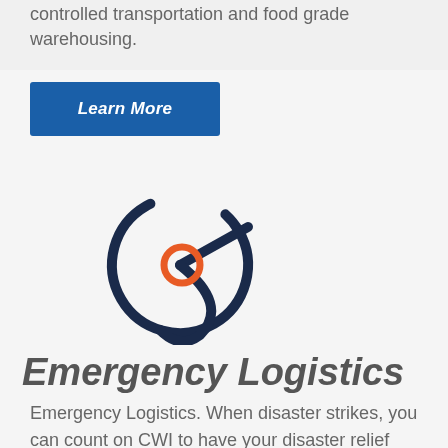controlled transportation and food grade warehousing.
Learn More
[Figure (logo): Emergency logistics icon: a dark navy crescent/pac-man shape forming a stylized letter R or person, with an orange circle in the center, all on a light gray background]
Emergency Logistics
Emergency Logistics. When disaster strikes, you can count on CWI to have your disaster relief supplies ready to go.